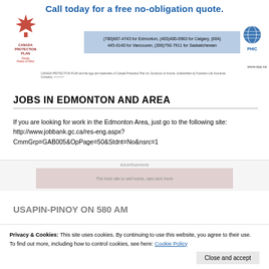[Figure (illustration): Canada Protection Plan advertisement banner with call to action, phone numbers, logo, and PHIC globe]
JOBS IN EDMONTON AND AREA
If you are looking for work in the Edmonton Area, just go to the following site: http://www.jobbank.gc.ca/res-eng.aspx?CmmGrp=GAB005&OpPage=50&Stdnt=No&nsrc=1
USAPIN-PINOY ON 580 AM
Privacy & Cookies: This site uses cookies. By continuing to use this website, you agree to their use. To find out more, including how to control cookies, see here: Cookie Policy